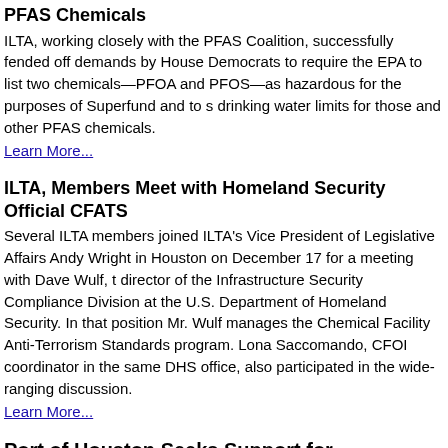PFAS Chemicals
ILTA, working closely with the PFAS Coalition, successfully fended off demands by House Democrats to require the EPA to list two chemicals—PFOA and PFOS—as hazardous for the purposes of Superfund and to set drinking water limits for those and other PFAS chemicals.
Learn More...
ILTA, Members Meet with Homeland Security Officials on CFATS
Several ILTA members joined ILTA's Vice President of Legislative Affairs Andy Wright in Houston on December 17 for a meeting with Dave Wulf, the director of the Infrastructure Security Compliance Division at the U.S. Department of Homeland Security. In that position Mr. Wulf manages the Chemical Facility Anti-Terrorism Standards program. Lona Saccomando, CFOI coordinator in the same DHS office, also participated in the wide-ranging discussion.
Learn More...
Port of Houston Seeks Support for Expansion, Improvement of Houston Ship Channel
The Port of Houston and a coalition of businesses recently launched a